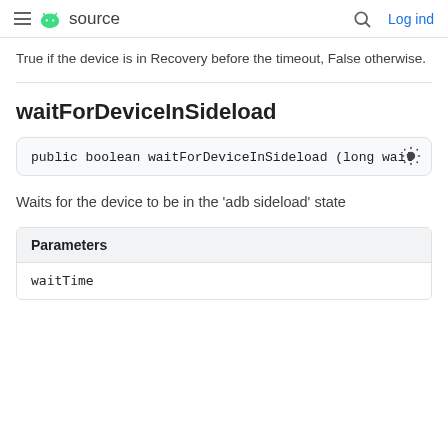source  Log ind
True if the device is in Recovery before the timeout, False otherwise.
waitForDeviceInSideload
public boolean waitForDeviceInSideload (long wait
Waits for the device to be in the 'adb sideload' state
| Parameters |
| --- |
| waitTime |
waitTime